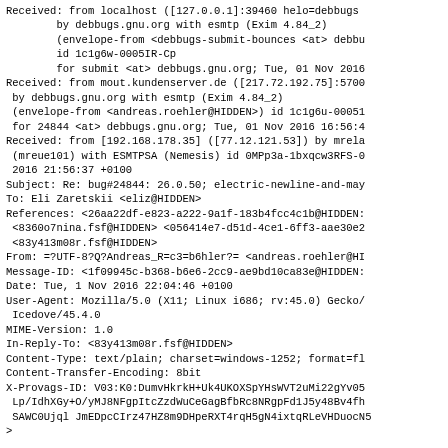Received: from localhost ([127.0.0.1]:39460 helo=debbugs
        by debbugs.gnu.org with esmtp (Exim 4.84_2)
        (envelope-from <debbugs-submit-bounces <at> debbu
        id 1c1g6w-0005IR-Cp
        for submit <at> debbugs.gnu.org; Tue, 01 Nov 2016
Received: from mout.kundenserver.de ([217.72.192.75]:5700
 by debbugs.gnu.org with esmtp (Exim 4.84_2)
 (envelope-from <andreas.roehler@HIDDEN>) id 1c1g6u-00051
 for 24844 <at> debbugs.gnu.org; Tue, 01 Nov 2016 16:56:4
Received: from [192.168.178.35] ([77.12.121.53]) by mrela
 (mreue101) with ESMTPSA (Nemesis) id 0MPp3a-1bxqcw3RFS-0
 2016 21:56:37 +0100
Subject: Re: bug#24844: 26.0.50; electric-newline-and-may
To: Eli Zaretskii <eliz@HIDDEN>
References: <26aa22df-e823-a222-9a1f-183b4fcc4c1b@HIDDEN:
 <8360o7nina.fsf@HIDDEN> <056414e7-d51d-4ce1-6ff3-aae30e2
 <83y413m08r.fsf@HIDDEN>
From: =?UTF-8?Q?Andreas_R=c3=b6hler?= <andreas.roehler@HI
Message-ID: <1f09945c-b368-b6e6-2cc9-ae9bd10ca83e@HIDDEN:
Date: Tue, 1 Nov 2016 22:04:46 +0100
User-Agent: Mozilla/5.0 (X11; Linux i686; rv:45.0) Gecko/
 Icedove/45.4.0
MIME-Version: 1.0
In-Reply-To: <83y413m08r.fsf@HIDDEN>
Content-Type: text/plain; charset=windows-1252; format=fl
Content-Transfer-Encoding: 8bit
X-Provags-ID: V03:K0:DumvHkrkH+Uk4UKOXSpYHsWVT2uMi22gYv05
 Lp/IdhXGy+O/yMJ8NFgpItcZzdWuCeGagBfbRc8NRgpFd1J5y48Bv4fh
 SAWC0Ujql JmEDpcCIrz47HZ8m9DHpeRXT4rqH5gN4ixtqRLeVHDuocN5
 oN5ID80vTKpmkwojJir9A==